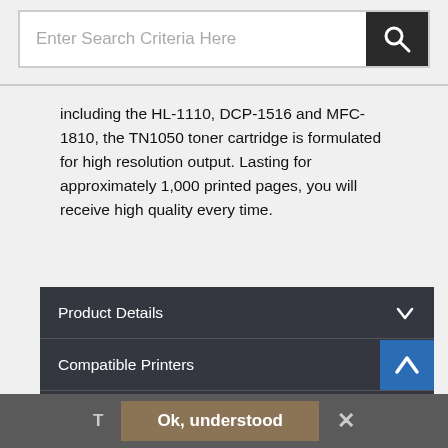[Figure (screenshot): Search bar with text input field 'Enter Search Criteria Here' and dark search button with magnifying glass icon]
including the HL-1110, DCP-1516 and MFC-1810, the TN1050 toner cartridge is formulated for high resolution output. Lasting for approximately 1,000 printed pages, you will receive high quality every time.
Product Details
Compatible Printers
Additional Documentation
People who bought this also bought
Ok, understood